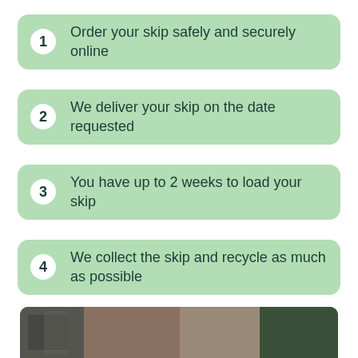1 Order your skip safely and securely online
2 We deliver your skip on the date requested
3 You have up to 2 weeks to load your skip
4 We collect the skip and recycle as much as possible
[Figure (photo): Bottom strip showing a photograph of a building exterior with brick wall and greenery]